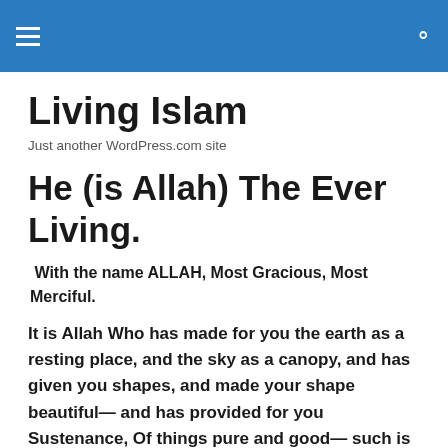Living Islam — Just another WordPress.com site (navigation header)
Living Islam
Just another WordPress.com site
He (is Allah) The Ever Living.
With the name ALLAH, Most Gracious, Most Merciful.
It is Allah Who has made for you the earth as a resting place, and the sky as a canopy, and has given you shapes, and made your shape beautiful— and has provided for you Sustenance, Of things pure and good— such is Allah your Lord.  So Glory to Allah, the Lord of the Worlds!